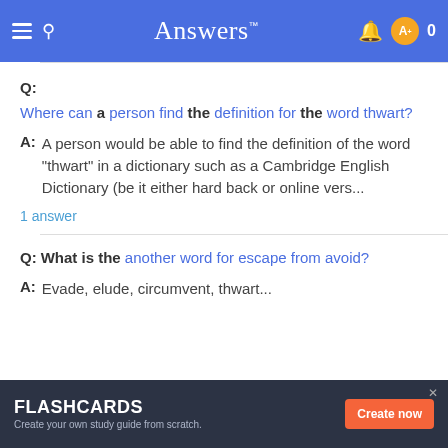Answers
Q: Where can a person find the definition for the word thwart?
A: A person would be able to find the definition of the word "thwart" in a dictionary such as a Cambridge English Dictionary (be it either hard back or online vers...
1 answer
Q: What is the another word for escape from avoid?
A: Evade, elude, circumvent, thwart...
FLASHCARDS — Create your own study guide from scratch. Create now